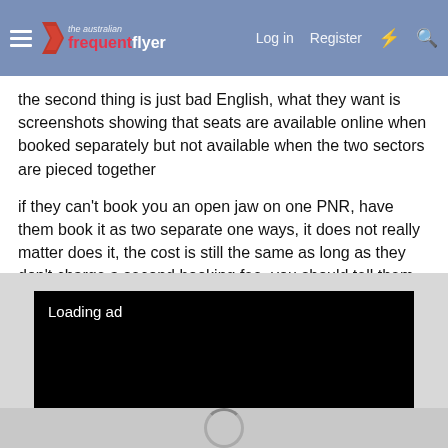The Australian Frequent Flyer — Log in  Register
the second thing is just bad English, what they want is screenshots showing that seats are available online when booked separately but not available when the two sectors are pieced together
if they can't book you an open jaw on one PNR, have them book it as two separate one ways, it does not really matter does it, the cost is still the same as long as they don't charge a second booking fee, you should tell them that
1 person
[Figure (screenshot): Black advertisement loading placeholder with text 'Loading ad' and a spinner below on grey background]